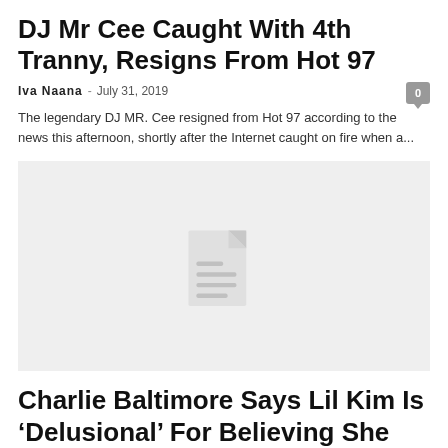DJ Mr Cee Caught With 4th Tranny, Resigns From Hot 97
Iva Naana  -  July 31, 2019
The legendary DJ MR. Cee resigned from Hot 97 according to the news this afternoon, shortly after the Internet caught on fire when a...
[Figure (illustration): Placeholder image with a document/file icon on a light grey background]
Charlie Baltimore Says Lil Kim Is ‘Delusional’ For Believing She Was…